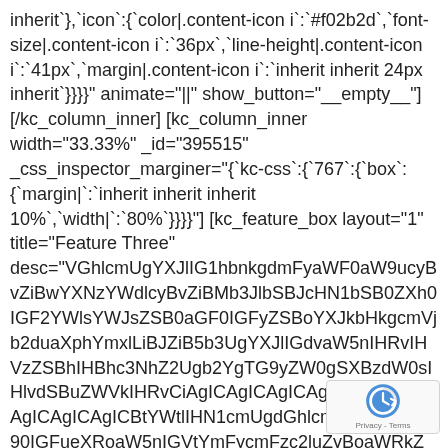inherit`},`icon`:{`color|.content-icon i`:`#f02b2d`,`font-size|.content-icon i`:`36px`,`line-height|.content-icon i`:`41px`,`margin|.content-icon i`:`inherit inherit 24px inherit`}}}}" animate="||" show_button="__empty__"][/kc_column_inner]
[kc_column_inner width="33.33%" _id="395515" _css_inspector_marginer="{`kc-css`:{`767`:{`box`:{`margin|`:`inherit inherit inherit 10%`,`width|`:`80%`}}}}"] 
[kc_feature_box layout="1" title="Feature Three" desc="VGhlcmUgYXJlIG1hbnkgdmFyaWF0aW9ucyBvZiBwYXNzYWdlcyBvZiB0aGUgTG9yZW0gSXBzdW0gdGV4dCBhdmFpbGFibGUgdGhhdCBhcmUgaGFyZGx5IHJlY29nbml6YWJsZS4ZSBtYWtlIHN1cmUgdGhhdCBhcmUgaGFyZGx5IHJlY29nbml6YWJsZS4ZSBtYWtlIHN1cmUgdGhhdCBhcmUgaGFyZGx5" icon="fa-paper-plane" _id="887666" css_custom="{`kc-css`:{`999`:{`boxes`:{`padding|`:`inherit inherit 24px inherit`}},`any`:{`title`:{`color|.content-title`:`#333333`,`font-family|.content-title`:`Montserrat`,`font-size|.content-title`:`23px`,`line-height|.content-title`:`29px`,`text-transform|.content-title`:`capitalize`,`margin|.content-title`:`0px inherit 12px inherit`},`icon`:{`color|.content-icon i`:`#f02b2d`,`font-size|.content-icon i`:`36px`,`line-height|.content-icon
[Figure (other): reCAPTCHA badge with the Google reCAPTCHA logo and Privacy - Terms text]